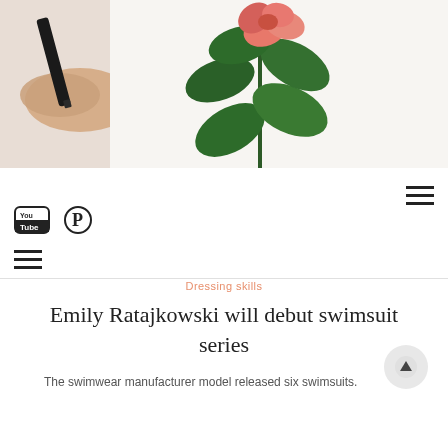[Figure (photo): A hand holding a black pen/marker drawing a floral botanical illustration with pink flowers and green leaves on white paper.]
[Figure (illustration): YouTube icon/logo]
[Figure (illustration): Pinterest icon/logo]
[Figure (illustration): Hamburger menu icon (three horizontal lines) in top right]
[Figure (illustration): Hamburger menu icon (three horizontal lines) on left side below social icons]
Dressing skills
Emily Ratajkowski will debut swimsuit series
The swimwear manufacturer model released six swimsuits.